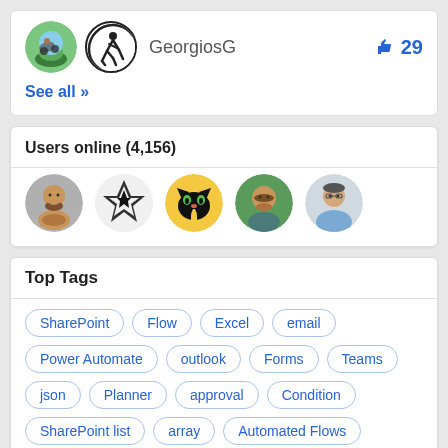[Figure (screenshot): User profile row with avatar (cyclist photo) and GeorgiosG username icon, showing thumbs up count of 29]
GeorgiosG
29
See all >>
Users online (4,156)
[Figure (photo): Row of 5 circular user avatars for online users]
Top Tags
SharePoint
Flow
Excel
email
Power Automate
outlook
Forms
Teams
json
Planner
approval
Condition
SharePoint list
array
Automated Flows